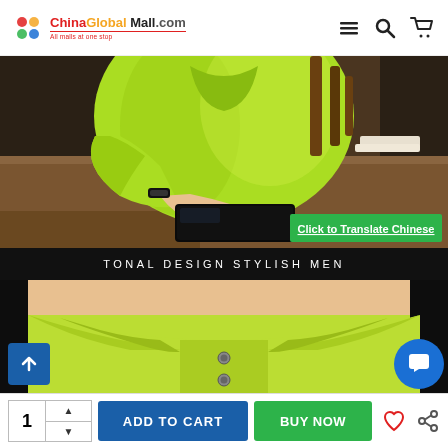ChinaGlobalMall.com — All malls at one stop
[Figure (photo): Product page screenshot from ChinaGlobalMall.com showing a man wearing a bright green polo shirt, sitting at a wooden table using a tablet/phone. Lower portion shows close-up of the polo collar with buttons. Black banner reads 'TONAL DESIGN STYLISH MEN'. Green overlay button reads 'Click to Translate Chinese'.]
TONAL DESIGN STYLISH MEN
Click to Translate Chinese
ADD TO CART
BUY NOW
1